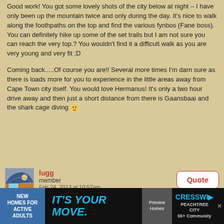Good work! You got some lovely shots of the city below at night – I have only been up the mountain twice and only during the day. It's nice to walk along the foothpaths on the top and find the various fynbos (Fane boss). You can definitely hike up some of the set trails but I am not sure you can reach the very top.? You wouldn't find it a difficult walk as you are very young and very fit ;D
Coming back.....Of course you are!! Several more times I'm darn sure as there is loads more for you to experience in the little areas away from Cape Town city itself. You would love Hermanus! It's only a two hour drive away and then just a short distance from there is Gaansbaai and the shark cage diving 😮
[Figure (photo): User avatar photo showing outdoor/nature scene with water]
lugg
member
Feb 24, 2013 at 10:57am
Just checked back and caught up with your last 3 installments
...that bathroom could have been designed for your dress, what a lovely photo of you.
The visual of the pathway surround by the agapanthus leading to the mountain is just stunning , what a setting for a lovely lunch.
[Figure (infographic): Advertisement banner: New Homes for Active Adults - IT'S YOUR MOVE. Preview Homes. CRESSWI Peachtree City 55+ Community]